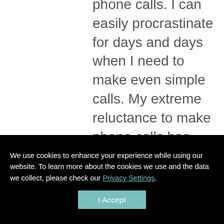phone calls. I can easily procrastinate for days and days when I need to make even simple calls. My extreme reluctance to make phone calls has always puzzled me because I know I'm not a simpleton. I have two college degrees, and I generally enjoy
We use cookies to enhance your experience while using our website. To learn more about the cookies we use and the data we collect, please check our Privacy Settings.
I Accept